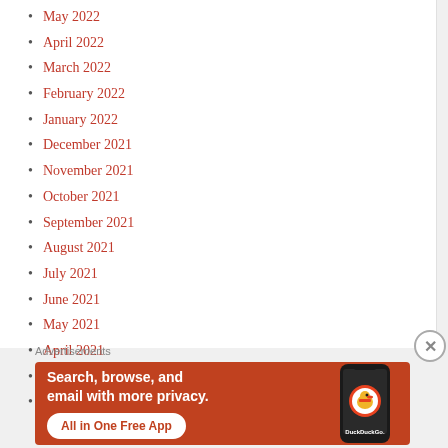May 2022
April 2022
March 2022
February 2022
January 2022
December 2021
November 2021
October 2021
September 2021
August 2021
July 2021
June 2021
May 2021
April 2021
March 2021
February 2021
Advertisements
[Figure (illustration): DuckDuckGo advertisement banner: orange background with text 'Search, browse, and email with more privacy. All in One Free App' and a phone image with DuckDuckGo logo]